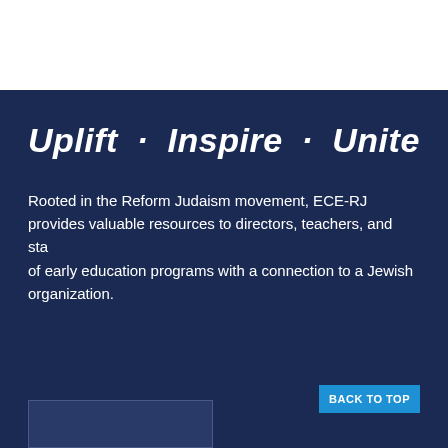Uplift · Inspire · Unite
Rooted in the Reform Judaism movement, ECE-RJ provides valuable resources to directors, teachers, and staff of early education programs with a connection to a Jewish organization.